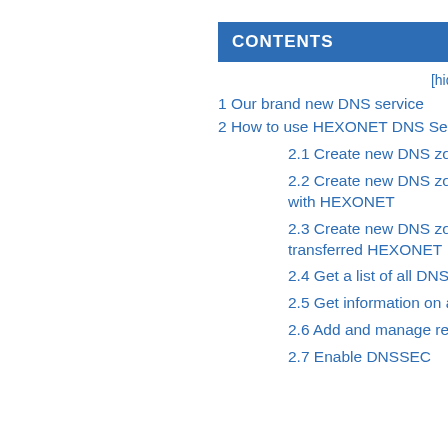CONTENTS
[hide]
1 Our brand new DNS service
2 How to use HEXONET DNS Service
2.1 Create new DNS zone
2.2 Create new DNS zone for a domain not registered with HEXONET
2.3 Create new DNS zone for a domain that is about to be transferred HEXONET
2.4 Get a list of all DNS zones
2.5 Get information on a DNS zone
2.6 Add and manage records
2.7 Enable DNSSEC